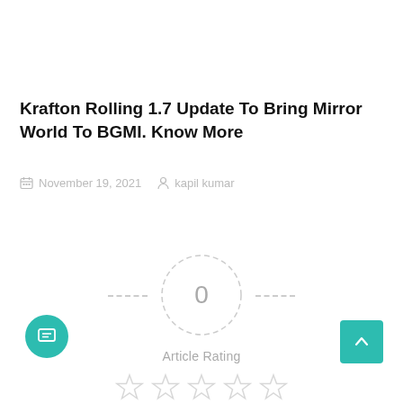Krafton Rolling 1.7 Update To Bring Mirror World To BGMI. Know More
November 19, 2021   kapil kumar
[Figure (infographic): Article rating widget showing a dashed circle with the number 0 inside, flanked by dashed horizontal lines, with 'Article Rating' label and 5 empty grey stars below.]
[Figure (other): Teal circular chat button at bottom left and teal square back-to-top arrow button at bottom right.]